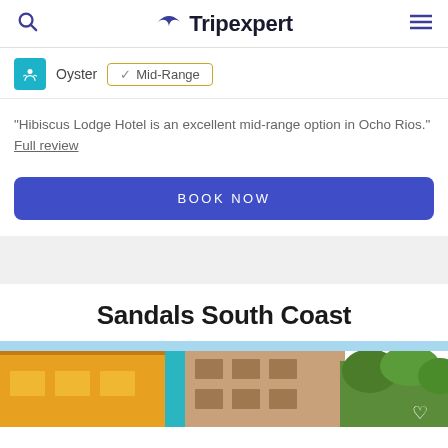Tripexpert
Oyster  ✓ Mid-Range
"Hibiscus Lodge Hotel is an excellent mid-range option in Ocho Rios." Full review
BOOK NOW
Sandals South Coast
[Figure (photo): Photo of a colorful hotel building exterior with yellow and teal walls, a brown multi-story building, and trees. White heart icon in lower right corner.]